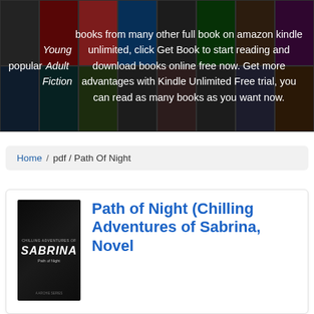[Figure (photo): Banner with collage of book covers (Stephen King and others) in dark background with white text overlay about Young Adult Fiction books on Amazon Kindle Unlimited.]
popular Young Adult Fiction books from many other full book on amazon kindle unlimited, click Get Book to start reading and download books online free now. Get more advantages with Kindle Unlimited Free trial, you can read as many books as you want now.
Home / pdf / Path Of Night
[Figure (photo): Book cover of Path of Night - Chilling Adventures of Sabrina. Dark/black cover with stylized 'SABRINA' text in white italic font.]
Path of Night (Chilling Adventures of Sabrina, Novel